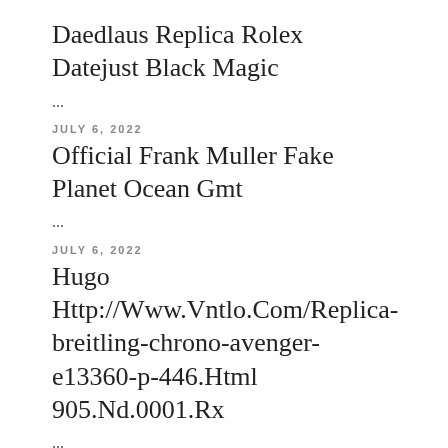Daedlaus Replica Rolex Datejust Black Magic
...
JULY 6, 2022
Official Frank Muller Fake Planet Ocean Gmt
...
JULY 6, 2022
Hugo Http://Www.Vntlo.Com/Replica-breitling-chrono-avenger-e13360-p-446.Html 905.Nd.0001.Rx
...